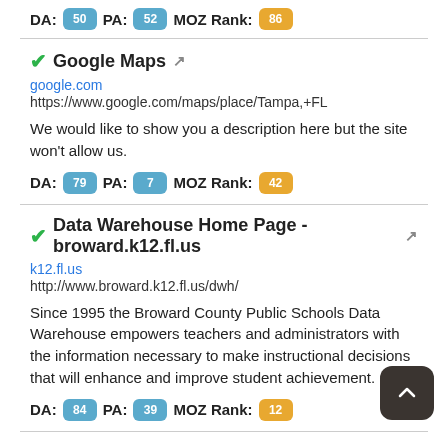DA: 50  PA: 52  MOZ Rank: 86
Google Maps (external link)
google.com
https://www.google.com/maps/place/Tampa,+FL
We would like to show you a description here but the site won't allow us.
DA: 79  PA: 7  MOZ Rank: 42
Data Warehouse Home Page - broward.k12.fl.us (external link)
k12.fl.us
http://www.broward.k12.fl.us/dwh/
Since 1995 the Broward County Public Schools Data Warehouse empowers teachers and administrators with the information necessary to make instructional decisions that will enhance and improve student achievement.
DA: 84  PA: 39  MOZ Rank: 12